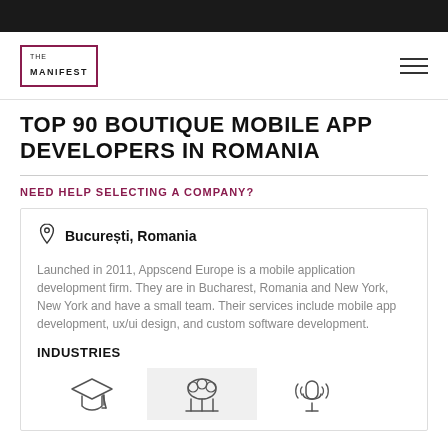THE MANIFEST
TOP 90 BOUTIQUE MOBILE APP DEVELOPERS IN ROMANIA
NEED HELP SELECTING A COMPANY?
București, Romania
Launched in 2011, Appscend Europe is a mobile application development firm. They are in Bucharest, Romania and New York, New York and have a small team. Their services include mobile app development, ux/ui design, and custom software development.
INDUSTRIES
[Figure (illustration): Three industry icons: graduation cap (education), cloud/brain (technology), microphone (media/entertainment)]